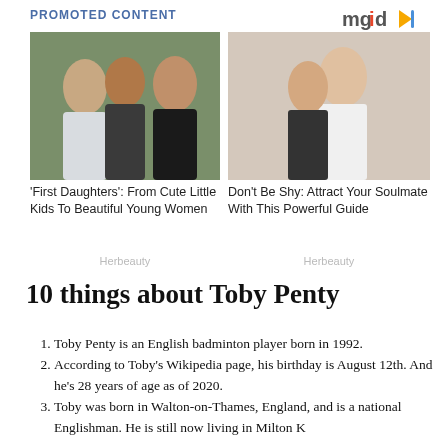PROMOTED CONTENT
[Figure (logo): mgid logo with play button icon]
[Figure (photo): Family photo showing two young women and a man posing together outdoors]
'First Daughters': From Cute Little Kids To Beautiful Young Women
Herbeauty
[Figure (photo): Couple kissing, man in white t-shirt and woman tilting head back]
Don't Be Shy: Attract Your Soulmate With This Powerful Guide
Herbeauty
10 things about Toby Penty
Toby Penty is an English badminton player born in 1992.
According to Toby's Wikipedia page, his birthday is August 12th. And he's 28 years of age as of 2020.
Toby was born in Walton-on-Thames, England, and is a national Englishman. He is still now living in Milton K...